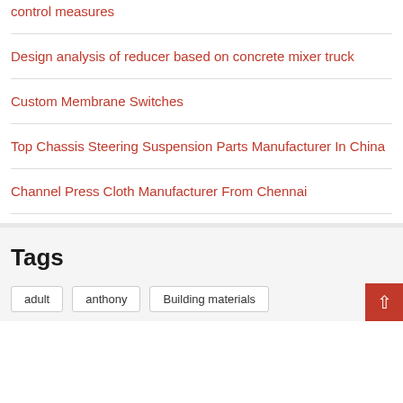control measures
Design analysis of reducer based on concrete mixer truck
Custom Membrane Switches
Top Chassis Steering Suspension Parts Manufacturer In China
Channel Press Cloth Manufacturer From Chennai
Tags
adult
anthony
Building materials